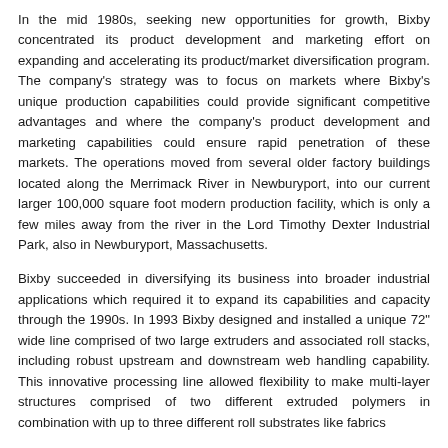In the mid 1980s, seeking new opportunities for growth, Bixby concentrated its product development and marketing effort on expanding and accelerating its product/market diversification program. The company's strategy was to focus on markets where Bixby's unique production capabilities could provide significant competitive advantages and where the company's product development and marketing capabilities could ensure rapid penetration of these markets. The operations moved from several older factory buildings located along the Merrimack River in Newburyport, into our current larger 100,000 square foot modern production facility, which is only a few miles away from the river in the Lord Timothy Dexter Industrial Park, also in Newburyport, Massachusetts.
Bixby succeeded in diversifying its business into broader industrial applications which required it to expand its capabilities and capacity through the 1990s. In 1993 Bixby designed and installed a unique 72" wide line comprised of two large extruders and associated roll stacks, including robust upstream and downstream web handling capability. This innovative processing line allowed flexibility to make multi-layer structures comprised of two different extruded polymers in combination with up to three different roll substrates like fabrics